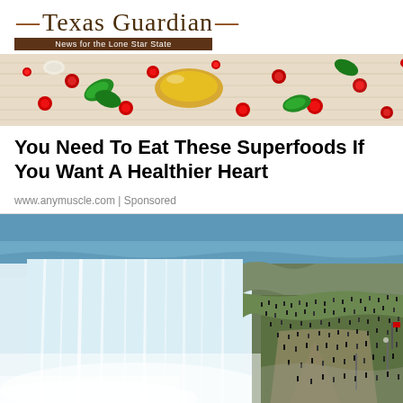Texas Guardian — News for the Lone Star State
[Figure (photo): Banner photo of superfoods: pomegranate seeds, basil leaves, oil, and various colorful ingredients on a light wooden surface]
You Need To Eat These Superfoods If You Want A Healthier Heart
www.anymuscle.com | Sponsored
[Figure (photo): Aerial view of Niagara Falls with crowds of tourists on viewing platforms along the rocky shoreline next to the waterfall]